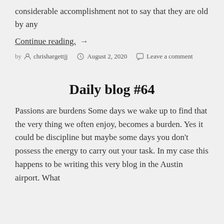considerable accomplishment not to say that they are old by any
Continue reading. →
by chrishargettjj   August 2, 2020   Leave a comment
Daily blog #64
Passions are burdens Some days we wake up to find that the very thing we often enjoy, becomes a burden. Yes it could be discipline but maybe some days you don't possess the energy to carry out your task. In my case this happens to be writing this very blog in the Austin airport. What